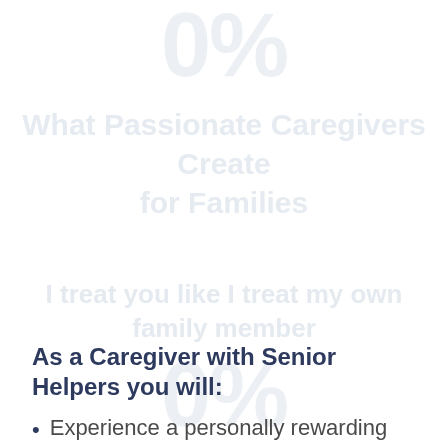[Figure (infographic): Large faded/watermark text showing '0%' in very light gray, centered near the top of the page]
What Passionate Caregivers Create
for Families
[Figure (infographic): Large faded/watermark text showing '0%' in very light gray, centered in the middle of the page]
I treat you like I treat my own
family member
As a Caregiver with Senior Helpers you will:
Experience a personally rewarding